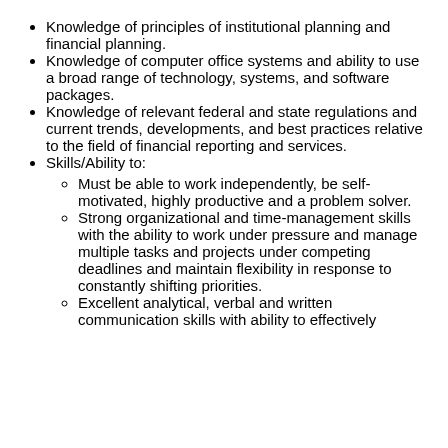Knowledge of principles of institutional planning and financial planning.
Knowledge of computer office systems and ability to use a broad range of technology, systems, and software packages.
Knowledge of relevant federal and state regulations and current trends, developments, and best practices relative to the field of financial reporting and services.
Skills/Ability to:
Must be able to work independently, be self-motivated, highly productive and a problem solver.
Strong organizational and time-management skills with the ability to work under pressure and manage multiple tasks and projects under competing deadlines and maintain flexibility in response to constantly shifting priorities.
Excellent analytical, verbal and written communication skills with ability to effectively